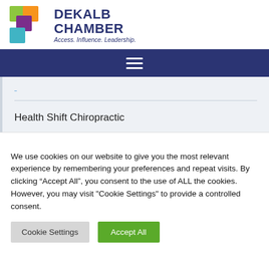[Figure (logo): DeKalb Chamber logo with colorful overlapping squares and text 'DEKALB CHAMBER Access. Influence. Leadership.']
Health Shift Chiropractic
We use cookies on our website to give you the most relevant experience by remembering your preferences and repeat visits. By clicking “Accept All”, you consent to the use of ALL the cookies. However, you may visit "Cookie Settings" to provide a controlled consent.
Cookie Settings
Accept All